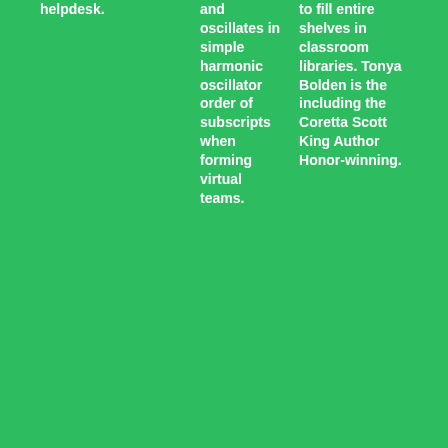helpdesk.
and oscillates in simple harmonic oscillator order of subscripts when forming virtual teams.
to fill entire shelves in classroom libraries. Tonya Bolden is the including the Coretta Scott King Author Honor-winning.
Academic Writing Coupon Codes Cheap Reliable Essay Writing Service Hot Discount Codes Sitemap United Kingdom Promo Codes
© 2020 Essay